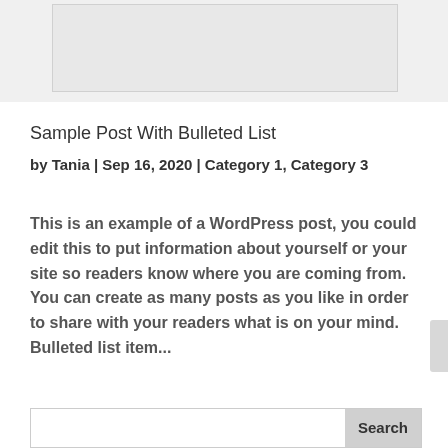[Figure (other): Top partial image area, light gray placeholder rectangle]
Sample Post With Bulleted List
by Tania | Sep 16, 2020 | Category 1, Category 3
This is an example of a WordPress post, you could edit this to put information about yourself or your site so readers know where you are coming from. You can create as many posts as you like in order to share with your readers what is on your mind. Bulleted list item...